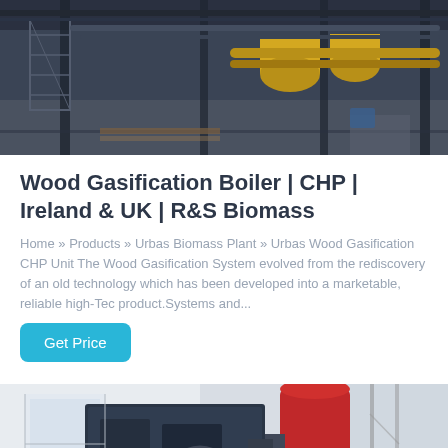[Figure (photo): Industrial machinery/boiler equipment in a factory setting, showing yellow cylindrical tanks, metal framework and scaffolding, taken indoors with grey steel structures]
Wood Gasification Boiler | CHP | Ireland & UK | R&S Biomass
Home » Products » Urbas Biomass Plant » Urbas Wood Gasification CHP Unit The Wood Gasification System evolved from the rediscovery of an old technology which has been developed into a marketable, reliable high-Tec product.Systems and...
Get Price
[Figure (photo): Industrial biomass boiler or gasification unit in a white factory interior, showing a large dark blue/grey machine with a prominent red cylindrical component on top, control panels visible]